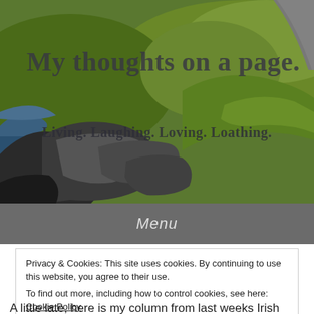[Figure (photo): Scenic coastal landscape with rocky cliffs, green grass, blue water on the left, and a road on the upper right. Text overlaid on the image shows the blog title and tagline.]
My thoughts on a page.
Living. Laughing. Loving. Loathing.
Menu
Privacy & Cookies: This site uses cookies. By continuing to use this website, you agree to their use.
To find out more, including how to control cookies, see here: Cookie Policy
A little late, here is my column from last weeks Irish